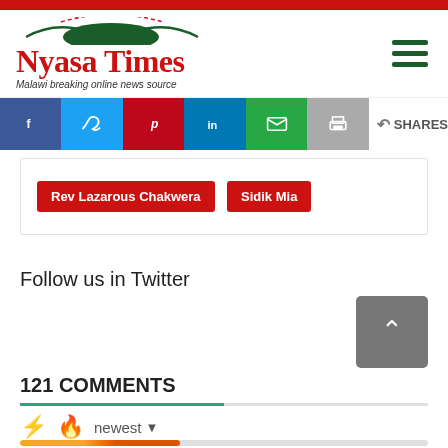Nyasa Times — Malawi breaking online news source
[Figure (infographic): Social share buttons: Facebook, Twitter, Pinterest, LinkedIn, Email, Print, and SHARES count]
Rev Lazarous Chakwera
Sidik Mia
Follow us in Twitter
121 COMMENTS
newest (sort dropdown)